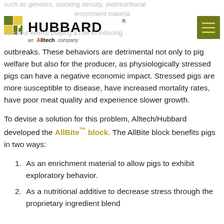such as genetics, stocking density, diet/nutritional, enrichment material, stressful events playing a role in inducing outbreaks.
[Figure (logo): Hubbard logo with green and yellow grid squares, 'HUBBARD' in bold black text with registered trademark, 'an Alltech company' tagline with Alltech logo in orange and black]
outbreaks. These behaviors are detrimental not only to pig welfare but also for the producer, as physiologically stressed pigs can have a negative economic impact. Stressed pigs are more susceptible to disease, have increased mortality rates, have poor meat quality and experience slower growth.
To devise a solution for this problem, Alltech/Hubbard developed the AllBite™ block. The AllBite block benefits pigs in two ways:
As an enrichment material to allow pigs to exhibit exploratory behavior.
As a nutritional additive to decrease stress through the proprietary ingredient blend